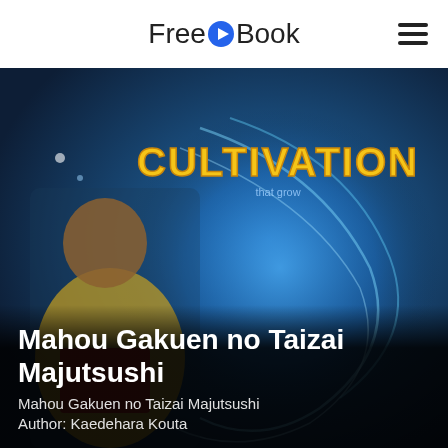FreeEBook
[Figure (illustration): Manga/anime style illustration showing a young male character in yellow robes reading a red book, with a large blue glowing dragon or energy sphere in the background and the word CULTIVATION in golden stylized letters at the top.]
Mahou Gakuen no Taizai Majutsushi
Mahou Gakuen no Taizai Majutsushi
Author: Kaedehara Kouta